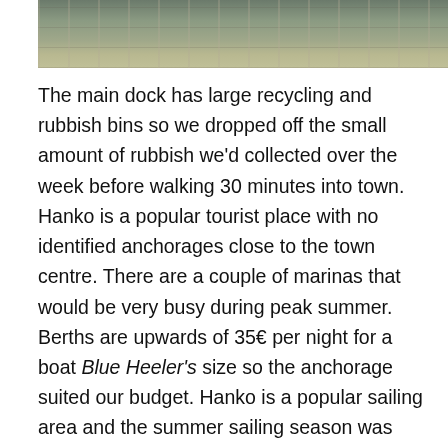[Figure (photo): Aerial view of a parking lot or dock area with vehicles and caravans on a flat sandy/gravel surface]
The main dock has large recycling and rubbish bins so we dropped off the small amount of rubbish we'd collected over the week before walking 30 minutes into town. Hanko is a popular tourist place with no identified anchorages close to the town centre. There are a couple of marinas that would be very busy during peak summer. Berths are upwards of 35€ per night for a boat Blue Heeler's size so the anchorage suited our budget. Hanko is a popular sailing area and the summer sailing season was well underway with many small yachts flying brightly coloured spinnakers as they race through the channels.
Hanko also has a few shops and a big K Supermarket so I grabbed some fresh bread and veggies before heading back to the boat. Finland has a government run outlet for